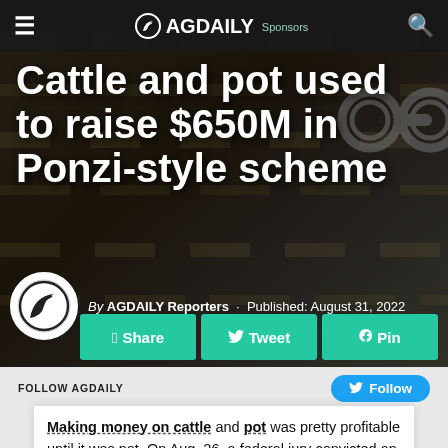AGDAILY
[Figure (photo): Dark background photo of money/cash with handcuffs or locks, used as hero image behind article title about Ponzi scheme]
Cattle and pot used to raise $650M in Ponzi-style scheme
By AGDAILY Reporters · Published: August 31, 2022
Share  Tweet  Pin
FOLLOW AGDAILY  Follow
Making money on cattle and pot was pretty profitable until it was not. On Aug. 26, a federal jury convicted an Illinois woman and Georgia man of conspiracy and fraud in a cattle and pot Ponzi-style scheme. In total, the individuals raised $650 million from investors, who lost tens of millions of